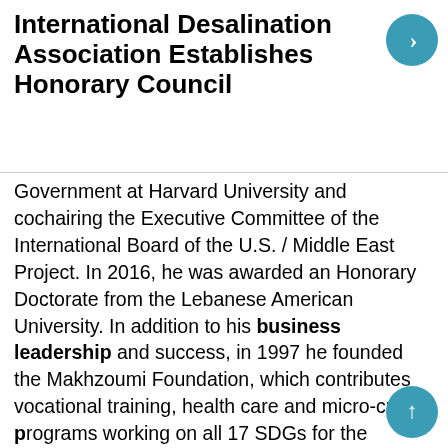International Desalination Association Establishes Honorary Council
Government at Harvard University and cochairing the Executive Committee of the International Board of the U.S. / Middle East Project. In 2016, he was awarded an Honorary Doctorate from the Lebanese American University. In addition to his business leadership and success, in 1997 he founded the Makhzoumi Foundation, which contributes vocational training, health care and micro-credit programs working on all 17 SDGs for the Lebanese civil society development and empowerment.
Eng. José Antonio Medina: Engineer Medina served the IDA as President and was a Director of Association. He is from Spain and has also served as the President of AEDyR. He has been a desalination engineer since 1995 and a well-known